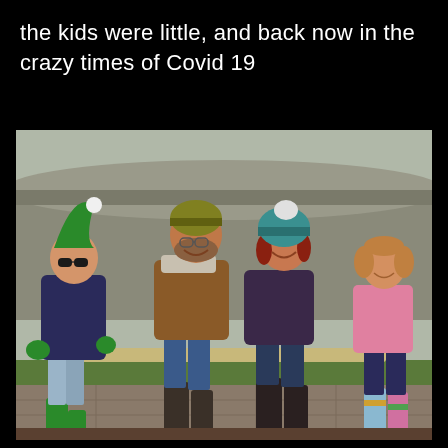the kids were little, and back now in the crazy times of Covid 19
[Figure (photo): A family of four sitting outdoors on a bench or low wall. Two adults and two children wearing winter clothing including hats, scarves, and wellies/boots. The boy on the left wears a green elf hat and green gloves with sunglasses. The man in the middle wears a grey/gold beanie and brown jacket. The woman wears a teal knitted hat. The girl on the right wears a pink top and colourful boots. Background shows a curved roof structure and grass.]